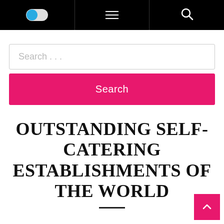[Figure (screenshot): Navigation bar with toggle switch on left, hamburger menu in center, and search icon on right, all on black background]
Search …
Search
OUTSTANDING SELF-CATERING ESTABLISHMENTS OF THE WORLD